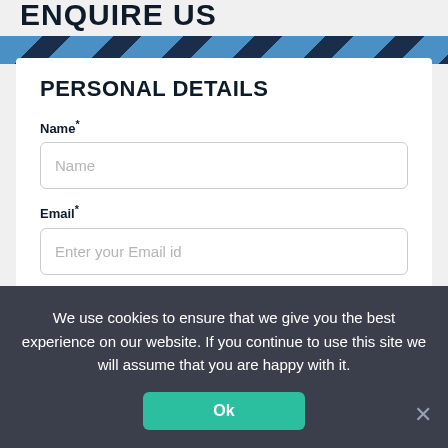ENQUIRE US
[Figure (other): Diagonal stripe decorative banner with dark navy and blue stripes]
PERSONAL DETAILS
Name*
Name (placeholder in input field)
Email*
Enter your Email id (placeholder in input field)
Phone Number*
Skype Id (placeholder in input field)
We use cookies to ensure that we give you the best experience on our website. If you continue to use this site we will assume that you are happy with it.
Ok